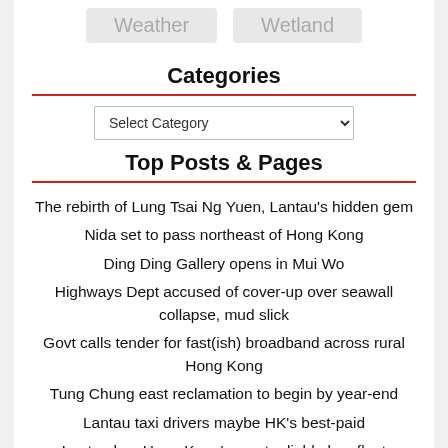[Figure (other): Two grey pill-shaped buttons labeled 'Weather' and 'Wetland']
Categories
Select Category
Top Posts & Pages
The rebirth of Lung Tsai Ng Yuen, Lantau's hidden gem
Nida set to pass northeast of Hong Kong
Ding Ding Gallery opens in Mui Wo
Highways Dept accused of cover-up over seawall collapse, mud slick
Govt calls tender for fast(ish) broadband across rural Hong Kong
Tung Chung east reclamation to begin by year-end
Lantau taxi drivers maybe HK's best-paid
Lantau has Hong Kong's most reliable bus fleet
Mui Wo's coming population boom
Big banks ignore plea for Tung Chung branches